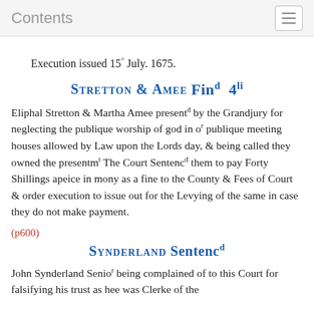Contents
Execution issued 15° July. 1675.
Stretton & Amee Fin'd 4li
Eliphal Stretton & Martha Amee presented by the Grandjury for neglecting the publique worship of god in o'r publique meeting houses allowed by Law upon the Lords day, & being called they owned the presentmt The Court Sentenced them to pay Forty Shillings apeice in mony as a fine to the County & Fees of Court & order execution to issue out for the Levying of the same in case they do not make payment.
(p600)
Synderland Sentenced
John Synderland Senio'r being complained of to this Court for falsifying his trust as hee was Clerke of the